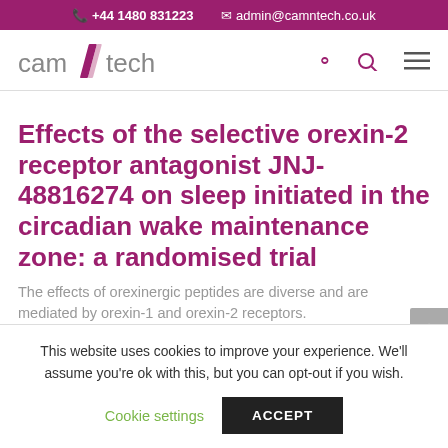+44 1480 831223  admin@camntech.co.uk
[Figure (logo): CamNtech logo with stylized diagonal slash between 'cam' and 'tech']
Effects of the selective orexin-2 receptor antagonist JNJ-48816274 on sleep initiated in the circadian wake maintenance zone: a randomised trial
The effects of orexinergic peptides are diverse and are mediated by orexin-1 and orexin-2 receptors.
This website uses cookies to improve your experience. We'll assume you're ok with this, but you can opt-out if you wish.
Cookie settings  ACCEPT